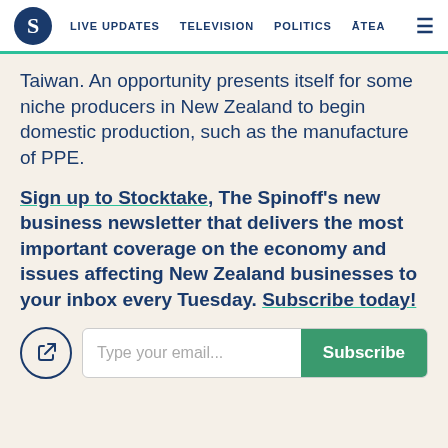S | LIVE UPDATES | TELEVISION | POLITICS | ĀTEA
Taiwan. An opportunity presents itself for some niche producers in New Zealand to begin domestic production, such as the manufacture of PPE.
Sign up to Stocktake, The Spinoff's new business newsletter that delivers the most important coverage on the economy and issues affecting New Zealand businesses to your inbox every Tuesday. Subscribe today!
Type your email... Subscribe